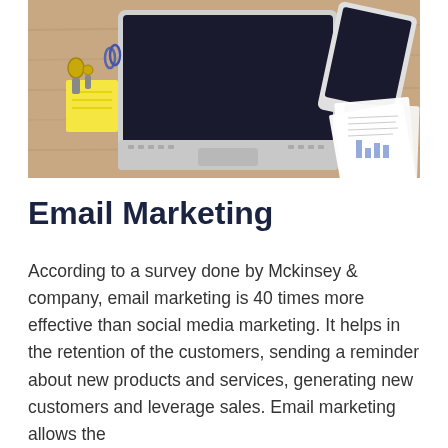[Figure (photo): Overhead view of a wooden desk with a laptop, tablet, yellow sticky notes, paper clips, keys, and printed spreadsheet/chart documents]
Email Marketing
According to a survey done by Mckinsey & company, email marketing is 40 times more effective than social media marketing. It helps in the retention of the customers, sending a reminder about new products and services, generating new customers and leverage sales. Email marketing allows the